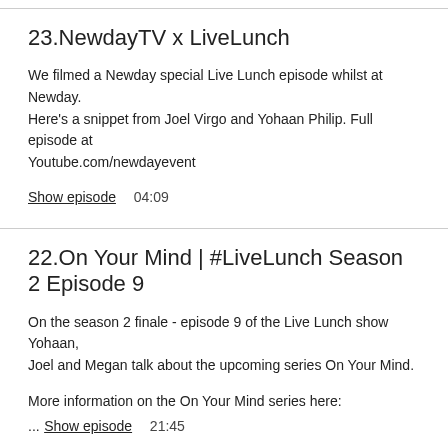23.NewdayTV x LiveLunch
We filmed a Newday special Live Lunch episode whilst at Newday. Here's a snippet from Joel Virgo and Yohaan Philip. Full episode at Youtube.com/newdayevent
Show episode   04:09
22.On Your Mind | #LiveLunch Season 2 Episode 9
On the season 2 finale - episode 9 of the Live Lunch show Yohaan, Joel and Megan talk about the upcoming series On Your Mind.
More information on the On Your Mind series here:
...
Show episode   21:45